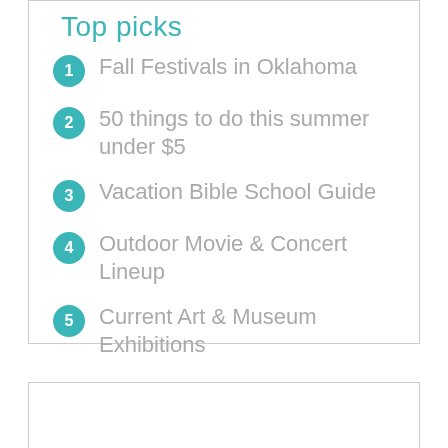Top picks
Fall Festivals in Oklahoma
50 things to do this summer under $5
Vacation Bible School Guide
Outdoor Movie & Concert Lineup
Current Art & Museum Exhibitions